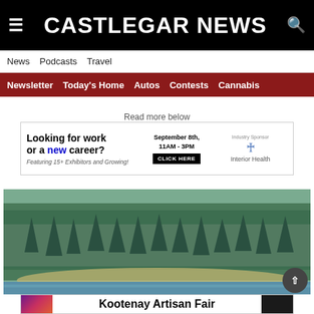CASTLEGAR NEWS
News  Podcasts  Travel
Newsletter  Today's Home  Autos  Contests  Cannabis
Read more below
[Figure (infographic): Advertisement banner: Looking for work or a new career? Featuring 15+ Exhibitors and Growing! September 8th, 11AM - 3PM CLICK HERE. Industry Sponsor: Interior Health]
[Figure (photo): Aerial photograph of a forested hillside with a river or lake visible at the bottom edge]
[Figure (infographic): Advertisement banner: Kootenay Artisan Fair with decorative elements on the sides]